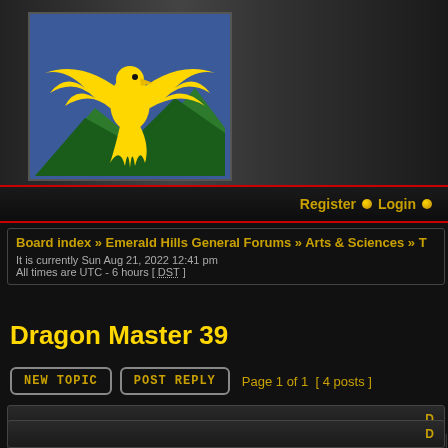[Figure (logo): Yellow phoenix/eagle with wings spread over green mountains on blue background - Emerald Hills logo]
Register  Login
Board index » Emerald Hills General Forums » Arts & Sciences » T
It is currently Sun Aug 21, 2022 12:41 pm
All times are UTC - 6 hours [ DST ]
Dragon Master 39
New Topic   Post Reply   Page 1 of 1  [ 4 posts ]
D
D